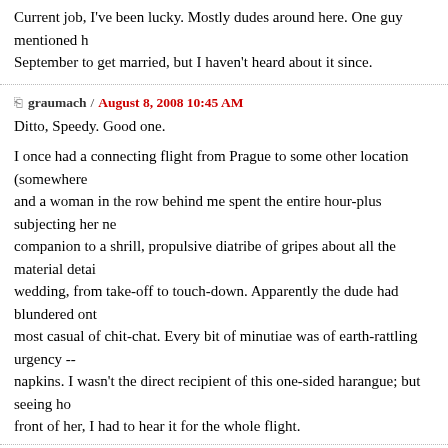Current job, I've been lucky. Mostly dudes around here. One guy mentioned he was leaving in September to get married, but I haven't heard about it since.
graumach / August 8, 2008 10:45 AM
Ditto, Speedy. Good one.

I once had a connecting flight from Prague to some other location (somewhere and a woman in the row behind me spent the entire hour-plus subjecting her neighbor companion to a shrill, propulsive diatribe of gripes about all the material details of her wedding, from take-off to touch-down. Apparently the dude had blundered onto the most casual of chit-chat. Every bit of minutiae was of earth-rattling urgency -- napkins. I wasn't the direct recipient of this one-sided harangue; but seeing how I was in front of her, I had to hear it for the whole flight.
flange / August 10, 2008 12:50 AM
Most of the cell-phone conversations i overhear.

as for topics too personal to discuss with acquaintances: well, you people aren't -- you'll have to forgive my not telling you until we know each other better.